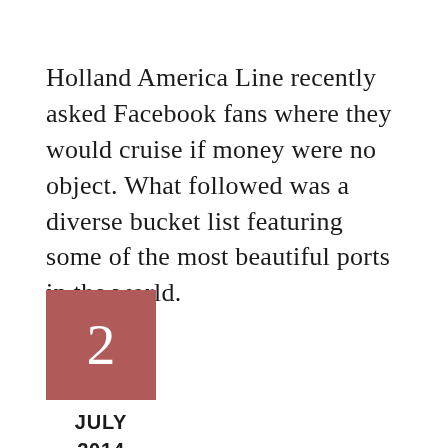Holland America Line recently asked Facebook fans where they would cruise if money were no object. What followed was a diverse bucket list featuring some of the most beautiful ports in the world.
2
JULY
2014